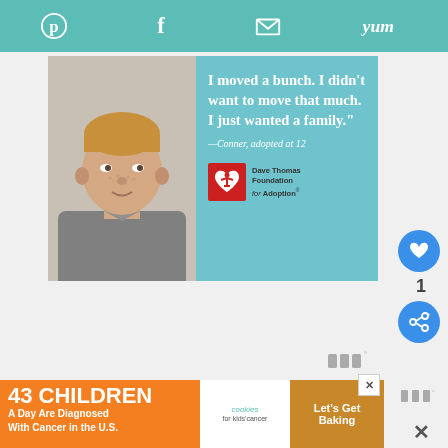Social sharing toolbar with Pinterest, Facebook, email, and Yummly icons
[Figure (photo): Dave Thomas Foundation for Adoption advertisement showing a boy (Conner) with quote: 'I moved a bunch. I didn't want to move that much. I just wanted a family.' — Conner, adopted at 12]
1
[Figure (logo): Mediavine watermark logo (three bars with degree symbol)]
[Figure (infographic): Bottom banner ad: 43 CHILDREN A Day Are Diagnosed With Cancer in the U.S. — cookies for kids' cancer — Let's Get Baking]
43 CHILDREN A Day Are Diagnosed With Cancer in the U.S.